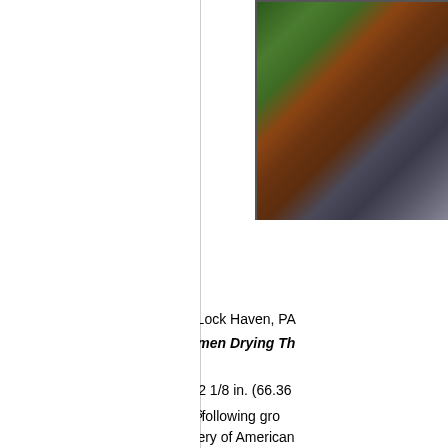[Figure (photo): Partial view of a painting showing a rooftop scene with brick architecture and green foliage — John Sloan's Sunday, Women Drying Their Hair]
View la
View zoo
+ BOOKMA
Artist(s):   John Sloan (Lock Haven, PA
Title:   Sunday, Women Drying Th
Date:   1912
Dimensions:   26 1/8 in. x 32 1/8 in. (66.36
Medium:   Oil on canvas
Credit Line:   Addison Gallery of American... purchase, 1938.67
This object is a member of the following gro... that group):
Periods and Styles: The Ashcan School &
Themes: MLC Portfolio: Visualizing Poetry
Exhibitions: 4 x 4